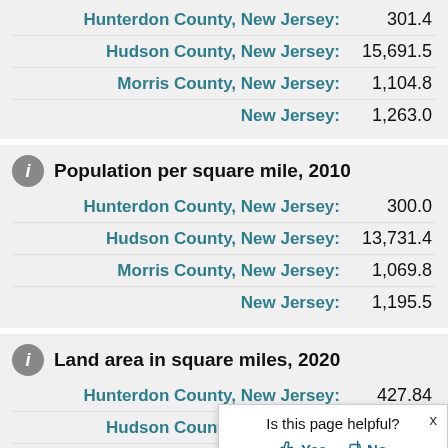| Place | Value |
| --- | --- |
| Hunterdon County, New Jersey: | 301.4 |
| Hudson County, New Jersey: | 15,691.5 |
| Morris County, New Jersey: | 1,104.8 |
| New Jersey: | 1,263.0 |
Population per square mile, 2010
| Place | Value |
| --- | --- |
| Hunterdon County, New Jersey: | 300.0 |
| Hudson County, New Jersey: | 13,731.4 |
| Morris County, New Jersey: | 1,069.8 |
| New Jersey: | 1,195.5 |
Land area in square miles, 2020
| Place | Value |
| --- | --- |
| Hunterdon County, New Jersey: | 427.84 |
| Hudson County, New Jersey: | 46.19 |
| Morris County, New Jersey: | ... |
| New Jersey: | ... |
Is this page helpful? Yes / No